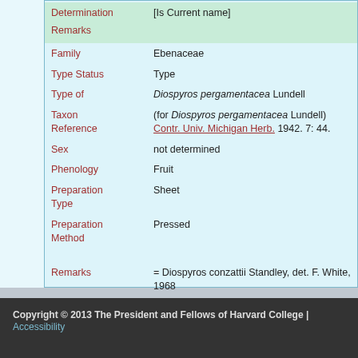Determination [Is Current name] Remarks
| Field | Value |
| --- | --- |
| Family | Ebenaceae |
| Type Status | Type |
| Type of | Diospyros pergamentacea Lundell |
| Taxon Reference | (for Diospyros pergamentacea Lundell) Contr. Univ. Michigan Herb. 1942. 7: 44. |
| Sex | not determined |
| Phenology | Fruit |
| Preparation Type | Sheet |
| Preparation Method | Pressed |
| Remarks | = Diospyros conzattii Standley, det. F. White, 1968 |
Copyright © 2013 The President and Fellows of Harvard College | Accessibility